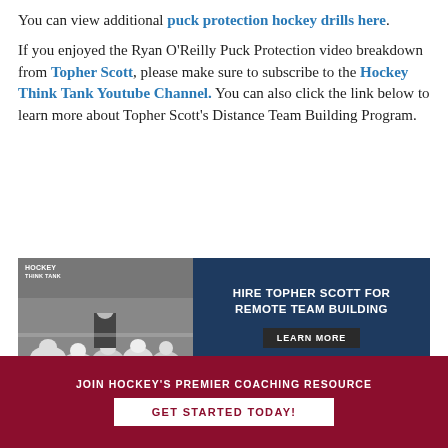You can view additional puck protection hockey drills here.
If you enjoyed the Ryan O'Reilly Puck Protection video breakdown from Topher Scott, please make sure to subscribe to the Hockey Think Tank Youtube Channel. You can also click the link below to learn more about Topher Scott's Distance Team Building Program.
[Figure (infographic): Banner advertisement for Hockey Think Tank featuring black and white photo of Topher Scott coaching hockey players, with dark navy background on right side containing text 'HIRE TOPHER SCOTT FOR REMOTE TEAM BUILDING' and a 'LEARN MORE' button.]
JOIN HOCKEY'S PREMIER COACHING RESOURCE
GET STARTED TODAY!